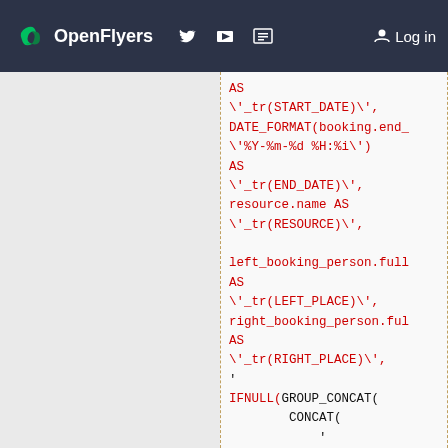OpenFlyers  Log in
[Figure (screenshot): SQL code snippet showing AS \'_tr(START_DATE)\', DATE_FORMAT(booking.end_ \'%Y-%m-%d %H:%i\') AS \'_tr(END_DATE)\', resource.name AS \'_tr(RESOURCE)\', left_booking_person.full AS \'_tr(LEFT_PLACE)\', right_booking_person.ful AS \'_tr(RIGHT_PLACE)\', IFNULL(GROUP_CONCAT( CONCAT( ' (SELECT business_field_content.c FROM business_field_content WHERE booking.id=business_fiel AND business_field_content]